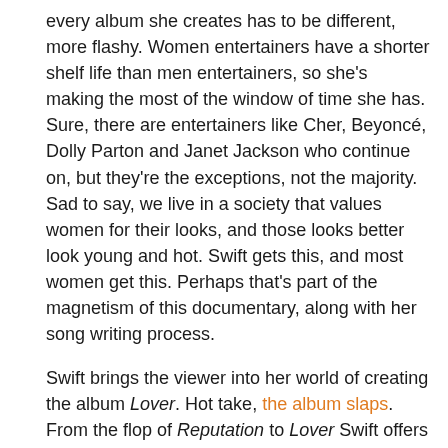every album she creates has to be different, more flashy. Women entertainers have a shorter shelf life than men entertainers, so she's making the most of the window of time she has. Sure, there are entertainers like Cher, Beyoncé, Dolly Parton and Janet Jackson who continue on, but they're the exceptions, not the majority. Sad to say, we live in a society that values women for their looks, and those looks better look young and hot. Swift gets this, and most women get this. Perhaps that's part of the magnetism of this documentary, along with her song writing process.
Swift brings the viewer into her world of creating the album Lover. Hot take, the album slaps. From the flop of Reputation to Lover Swift offers a peek into her world. Maybe for folks who don't care about the process, this won't seem exciting, but for folks who have followed her since she was 15 (she's been writing songs since she was a child), they can appreciate her trajectory. Lover is essentially a love letter, a somewhat different vibe than her past albums of heartbreak songs. As she says, she must adapt and change, Lover is a result of that